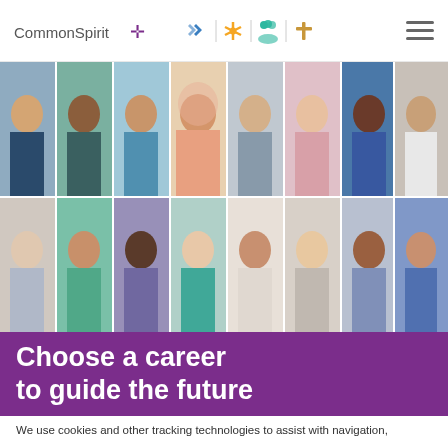CommonSpirit [logo with icons]
[Figure (photo): Grid of 16 diverse healthcare workers and medical professionals smiling, arranged in 2 rows of 8 photos each]
Choose a career to guide the future
We use cookies and other tracking technologies to assist with navigation,